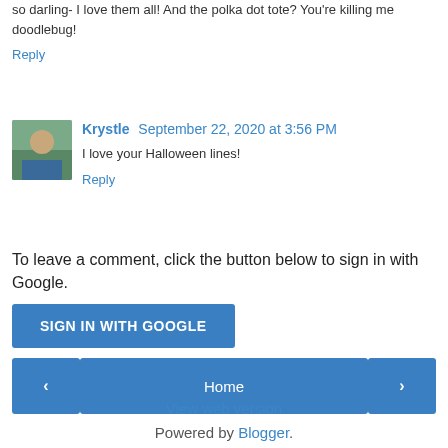so darling- I love them all! And the polka dot tote? You're killing me doodlebug!
Reply
Krystle  September 22, 2020 at 3:56 PM
I love your Halloween lines!
Reply
To leave a comment, click the button below to sign in with Google.
SIGN IN WITH GOOGLE
Home
View web version
Powered by Blogger.